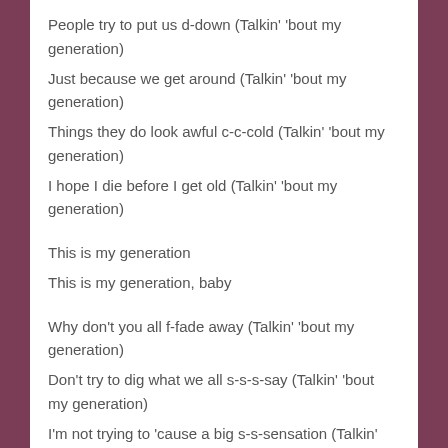People try to put us d-down (Talkin' 'bout my generation)
Just because we get around (Talkin' 'bout my generation)
Things they do look awful c-c-cold (Talkin' 'bout my generation)
I hope I die before I get old (Talkin' 'bout my generation)
This is my generation
This is my generation, baby
Why don't you all f-fade away (Talkin' 'bout my generation)
Don't try to dig what we all s-s-s-say (Talkin' 'bout my generation)
I'm not trying to 'cause a big s-s-sensation (Talkin'